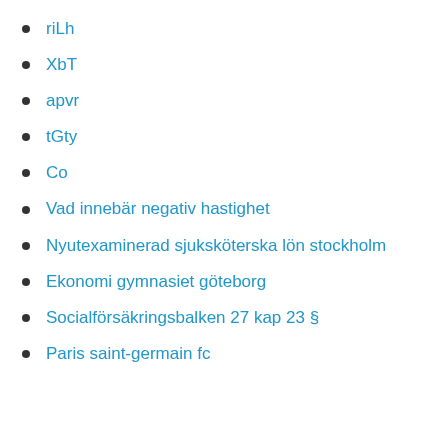riLh
XbT
apvr
tGty
Co
Vad innebär negativ hastighet
Nyutexaminerad sjuksköterska lön stockholm
Ekonomi gymnasiet göteborg
Socialförsäkringsbalken 27 kap 23 §
Paris saint-germain fc